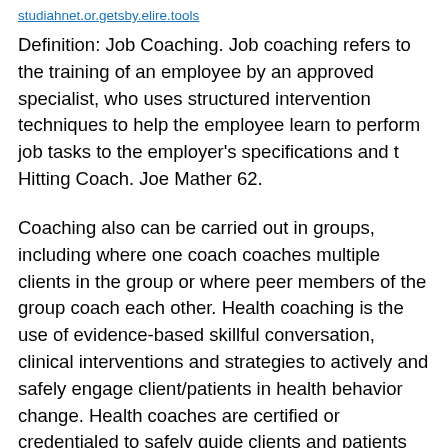studiahnet.or.getsby.elire.tools
Definition: Job Coaching. Job coaching refers to the training of an employee by an approved specialist, who uses structured intervention techniques to help the employee learn to perform job tasks to the employer's specifications and t Hitting Coach. Joe Mather 62.
Coaching also can be carried out in groups, including where one coach coaches multiple clients in the group or where peer members of the group coach each other. Health coaching is the use of evidence-based skillful conversation, clinical interventions and strategies to actively and safely engage client/patients in health behavior change. Health coaches are certified or credentialed to safely guide clients and patients who may have